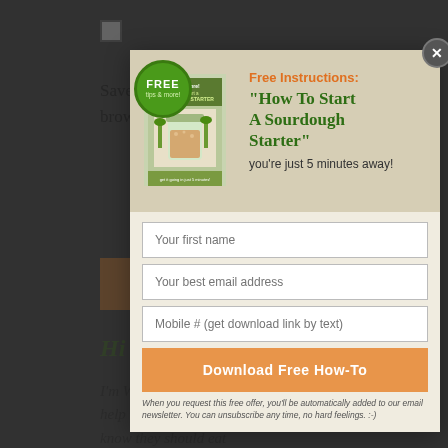[Figure (screenshot): Background webpage content partially visible behind modal overlay, showing a checkbox, text about saving name/email/website in browser, an orange button, 'Hi and Welcome!' heading in green italic, and body text beginning 'I'm Wardee Harmon and I help Chris...']
[Figure (infographic): Modal popup dialog for a free download offer. Contains a book cover image for 'How To Start A Sourdough Starter', a green FREE badge, title 'Free Instructions: How To Start A Sourdough Starter', subtitle 'you're just 5 minutes away!', form fields for first name, email address, and mobile number, an orange 'Download Free How-To' button, and a disclaimer about being added to the email newsletter.]
Free Instructions:
"How To Start A Sourdough Starter"
you're just 5 minutes away!
Your first name
Your best email address
Mobile # (get download link by text)
Download Free How-To
When you request this free offer, you'll be automatically added to our email newsletter. You can unsubscribe any time, no hard feelings. :-)